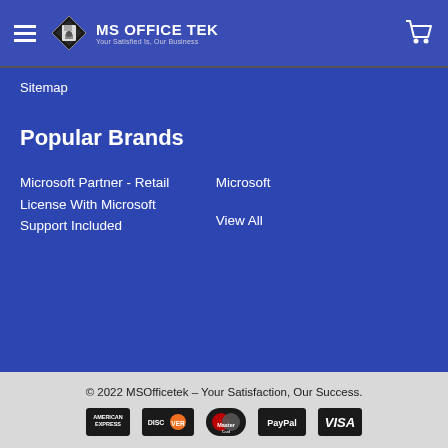MS OFFICE TEK - Your Satisfied Is, Our Business
Sitemap
Popular Brands
Microsoft Partner - Retail License With Microsoft Support Included
Microsoft
View All
© 2022 MSOfficetek - Your Satisfaction, Our Success.